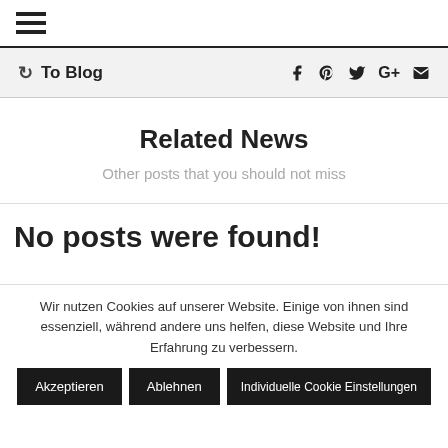☰ (hamburger menu)
↺ To Blog   f 𝒫 🐦 G+ ✉
Related News
Other posts that you should not miss
No posts were found!
Wir nutzen Cookies auf unserer Website. Einige von ihnen sind essenziell, während andere uns helfen, diese Website und Ihre Erfahrung zu verbessern.
Akzeptieren  Ablehnen  Individuelle Cookie Einstellungen